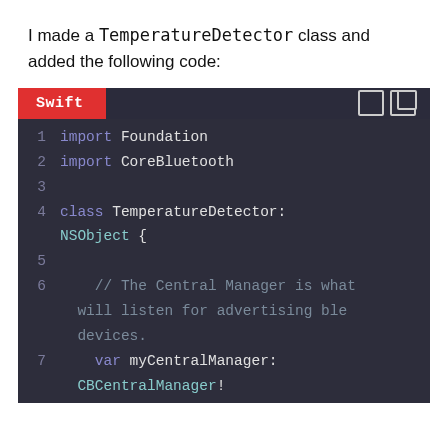I made a TemperatureDetector class and added the following code:
[Figure (screenshot): Swift code block showing lines 1-7 of TemperatureDetector class with import Foundation, import CoreBluetooth, class declaration, a comment about Central Manager, and var myCentralManager: CBCentralManager!]